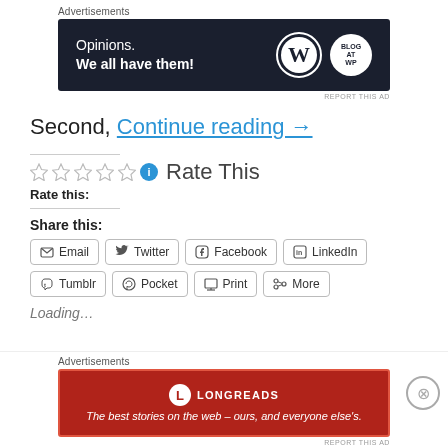Advertisements
[Figure (other): Dark advertisement banner: Opinions. We all have them! with WordPress and Blog logos]
REPORT THIS AD
Second, Continue reading →
[Figure (other): Star rating widget: 5 empty stars and info icon with text 'Rate This'. Label: Rate this:]
Share this:
Email  Twitter  Facebook  LinkedIn
Tumblr  Pocket  Print  More
Loading...
Advertisements
[Figure (other): Red Longreads advertisement banner: The best stories on the web – ours, and everyone else's.]
REPORT THIS AD